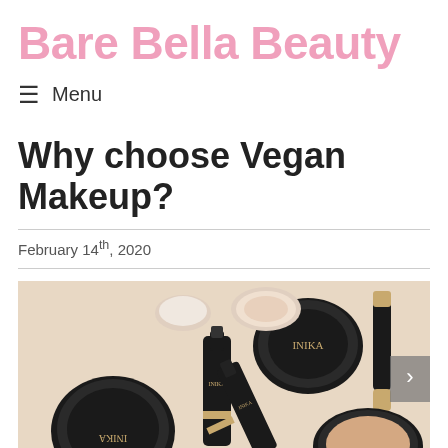Bare Bella Beauty
≡  Menu
Why choose Vegan Makeup?
February 14th, 2020
[Figure (photo): Flat lay photo of INIKA vegan makeup products including compacts, foundation bottles, and powder containers arranged on a beige background]